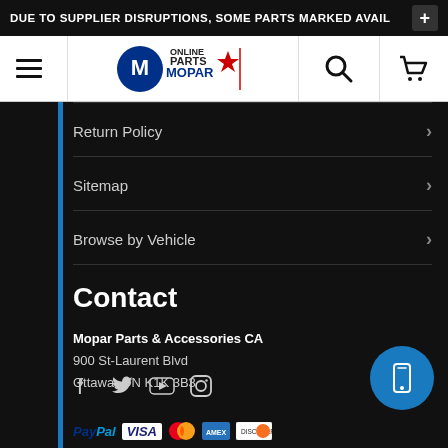DUE TO SUPPLIER DISRUPTIONS, SOME PARTS MARKED AVAIL
[Figure (screenshot): Mopar Parts Online Canada navigation bar with hamburger menu, logo, search icon, and cart icon]
Return Policy
Sitemap
Browse by Vehicle
Contact
Mopar Parts & Accessories CA
900 St-Laurent Blvd
Ottawa, ON K1K 3B3
[Figure (infographic): Social media icons: Facebook, Twitter, YouTube, Instagram]
[Figure (infographic): Payment method logos: PayPal, VISA, Mastercard, American Express, Discover]